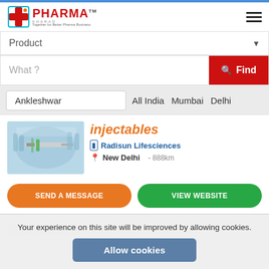[Figure (logo): PharmaKhabar logo with red cross and text 'PHARMA', tagline 'Together for Better Pharma Business']
Product
What ?
Find
Ankleshwar
All India  Mumbai  Delhi
Injectables
Radisun Lifesciences
New Delhi - 888km
SEND A MESSAGE
VIEW WEBSITE
Your experience on this site will be improved by allowing cookies.
Allow cookies